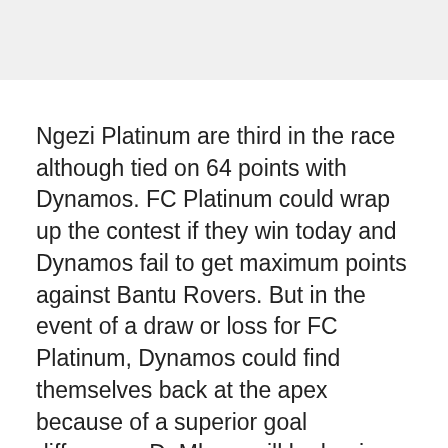[Figure (other): Gray banner/header image area at the top of the page]
Ngezi Platinum are third in the race although tied on 64 points with Dynamos. FC Platinum could wrap up the contest if they win today and Dynamos fail to get maximum points against Bantu Rovers. But in the event of a draw or loss for FC Platinum, Dynamos could find themselves back at the apex because of a superior goal difference. DeMbare will be hoping for a repeat of what happened in the reverse fixture when they beat Bantu Rovers at the National Sports Stadium to climb to the top of the table for the first time after several months.